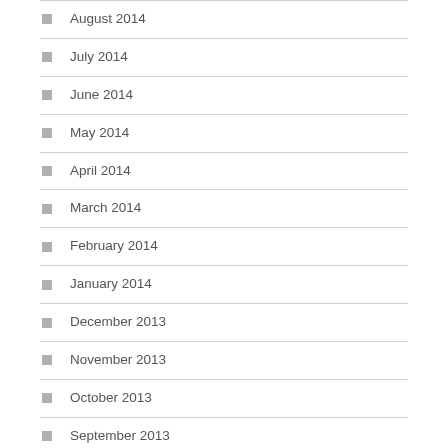August 2014
July 2014
June 2014
May 2014
April 2014
March 2014
February 2014
January 2014
December 2013
November 2013
October 2013
September 2013
August 2013
July 2013
June 2013